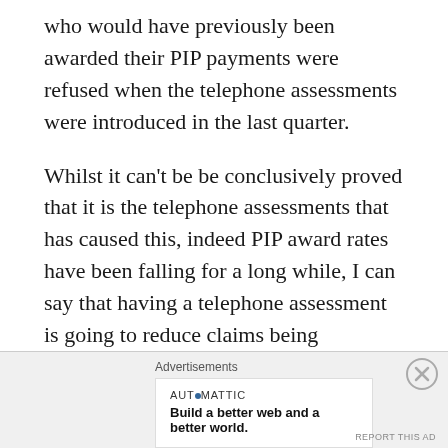who would have previously been awarded their PIP payments were refused when the telephone assessments were introduced in the last quarter.
Whilst it can't be be conclusively proved that it is the telephone assessments that has caused this, indeed PIP award rates have been falling for a long while, I can say that having a telephone assessment is going to reduce claims being successful.
I can also say that the government never
[Figure (other): Advertisement overlay with Automattic branding and tagline 'Build a better web and a better world.' with a close button (X circle) in the corner and a 'REPORT THIS AD' link.]